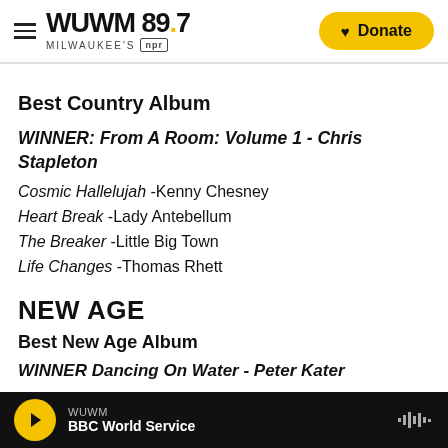WUWM 89.7 Milwaukee's NPR | Donate
Best Country Album
WINNER: From A Room: Volume 1 - Chris Stapleton
Cosmic Hallelujah -Kenny Chesney
Heart Break -Lady Antebellum
The Breaker -Little Big Town
Life Changes -Thomas Rhett
NEW AGE
Best New Age Album
WINNER Dancing On Water - Peter Kater
WUWM | BBC World Service